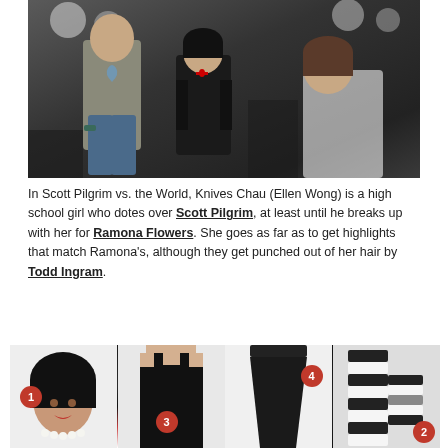[Figure (photo): Scene from Scott Pilgrim vs. the World showing characters including Scott Pilgrim in a t-shirt and Knives Chau in dark outfit]
In Scott Pilgrim vs. the World, Knives Chau (Ellen Wong) is a high school girl who dotes over Scott Pilgrim, at least until he breaks up with her for Ramona Flowers. She goes as far as to get highlights that match Ramona's, although they get punched out of her hair by Todd Ingram.
[Figure (photo): Four costume items numbered 1-4: 1) Black bob wig worn by model, 2) Black and white striped scarf, 3) Black tank top worn by model, 4) Black leggings/pants]